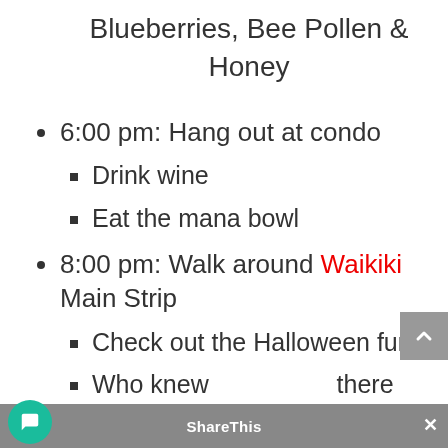Blueberries, Bee Pollen & Honey
6:00 pm: Hang out at condo
Drink wine
Eat the mana bowl
8:00 pm: Walk around Waikiki Main Strip
Check out the Halloween fun!
Who knew there would be so